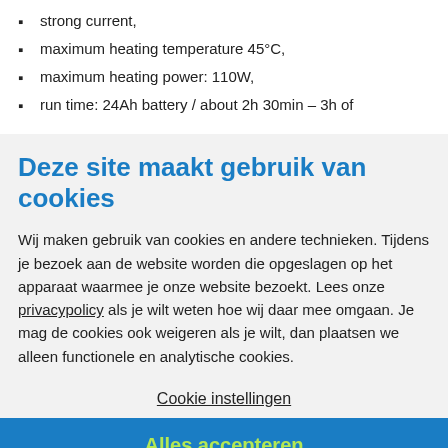strong current,
maximum heating temperature 45°C,
maximum heating power: 110W,
run time: 24Ah battery / about 2h 30min – 3h of heating
Deze site maakt gebruik van cookies
Wij maken gebruik van cookies en andere technieken. Tijdens je bezoek aan de website worden die opgeslagen op het apparaat waarmee je onze website bezoekt. Lees onze privacypolicy als je wilt weten hoe wij daar mee omgaan. Je mag de cookies ook weigeren als je wilt, dan plaatsen we alleen functionele en analytische cookies.
Cookie instellingen
Alles accepteren